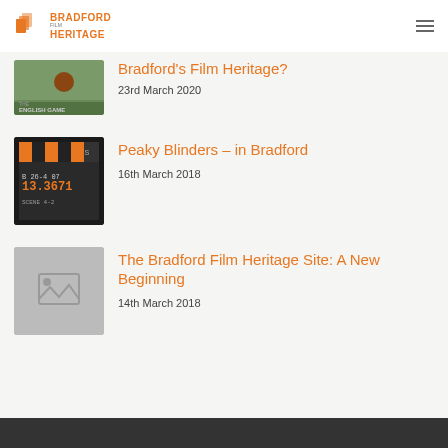Bradford Film Heritage
[Figure (screenshot): Screenshot of website article: Bradford's Film Heritage? with thumbnail of The English Game movie, dated 23rd March 2020]
[Figure (screenshot): Website article: Peaky Blinders - in Bradford with clapperboard thumbnail, dated 16th March 2018]
[Figure (screenshot): Website article: The Bradford Film Heritage Site: A New Beginning with placeholder image thumbnail, dated 14th March 2018]